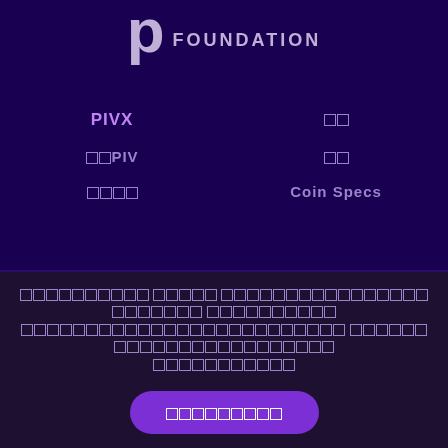[Figure (logo): PIVX Foundation logo with stylized P and FOUNDATION text]
PIVX
□□
□□PIV
□□
□□□□
Coin Specs
□□□□□□□□□□ □□□□□ □□□□□□□□□□□□□□□□□□□□□□□ □□□□□□□□□□ □□□□□□□□□□□□□□□□□□□□□□□□□□□□□□□□□□□□□□□□□□□□□□□□□□□□□□□
□□□□□□□□□